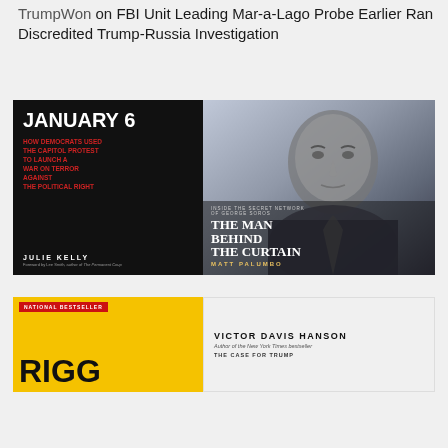TrumpWon on FBI Unit Leading Mar-a-Lago Probe Earlier Ran Discredited Trump-Russia Investigation
[Figure (illustration): Two book covers side by side. Left: 'January 6: How Democrats Used the Capitol Protest to Launch a War on Terror Against the Political Right' by Julie Kelly, black cover with red subtitle text. Right: 'The Man Behind the Curtain: Inside the Secret Network of George Soros' by Matt Palumbo, cover showing a black-and-white photo of an elderly man.]
[Figure (illustration): Two book covers side by side. Left: 'Rigged' with National Bestseller badge, yellow cover with large black title text. Right: Victor Davis Hanson book, white cover with author name and 'The Case for Trump' descriptor.]